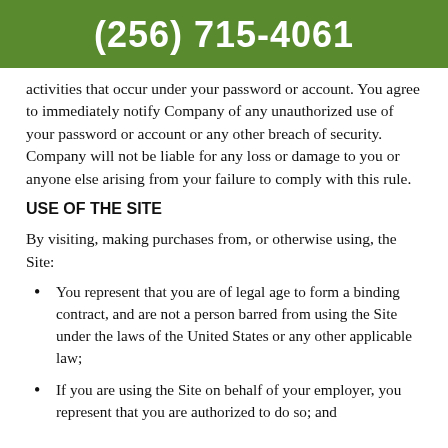(256) 715-4061
activities that occur under your password or account. You agree to immediately notify Company of any unauthorized use of your password or account or any other breach of security. Company will not be liable for any loss or damage to you or anyone else arising from your failure to comply with this rule.
USE OF THE SITE
By visiting, making purchases from, or otherwise using, the Site:
You represent that you are of legal age to form a binding contract, and are not a person barred from using the Site under the laws of the United States or any other applicable law;
If you are using the Site on behalf of your employer, you represent that you are authorized to do so; and